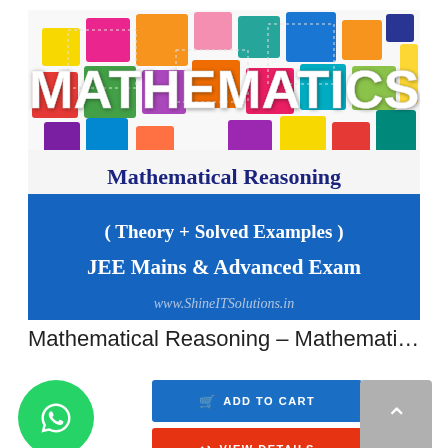[Figure (illustration): Book cover for 'Mathematical Reasoning – Mathematics Best' showing colorful geometric shapes with text 'MATHEMATICS' at top, then 'Mathematical Reasoning', '(Theory + Solved Examples)', 'JEE Mains & Advanced Exam', and 'www.ShineITSolutions.in' on a blue background.]
Mathematical Reasoning – Mathematics Best...
ADD TO CART
VIEW DETAILS